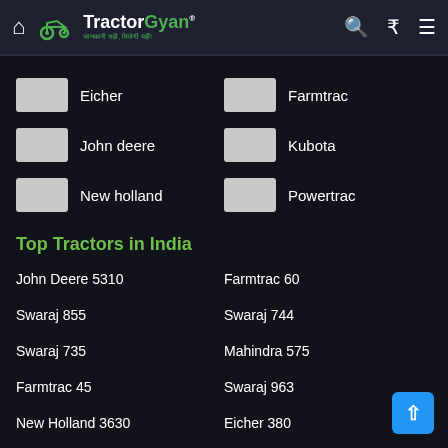TractorGyan — जानकारी सही, मिलेगी यहीं!
Eicher
Farmtrac
John deere
Kubota
New holland
Powertrac
Top Tractors in India
John Deere 5310
Farmtrac 60
Swaraj 855
Swaraj 744
Swaraj 735
Mahindra 575
Farmtrac 45
Swaraj 963
New Holland 3630
Eicher 380